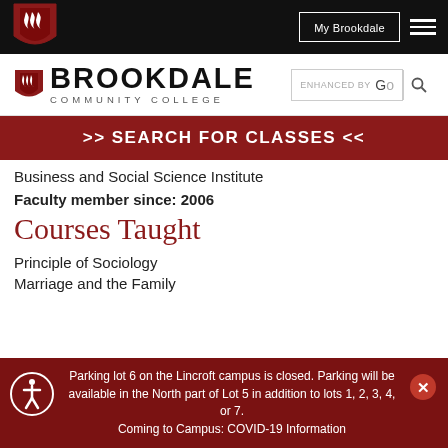[Figure (logo): Brookdale Community College shield logo and wordmark with navigation bar]
>> SEARCH FOR CLASSES <<
Business and Social Science Institute
Faculty member since: 2006
Courses Taught
Principle of Sociology
Marriage and the Family
Parking lot 6 on the Lincroft campus is closed. Parking will be available in the North part of Lot 5 in addition to lots 1, 2, 3, 4, or 7.
Coming to Campus: COVID-19 Information